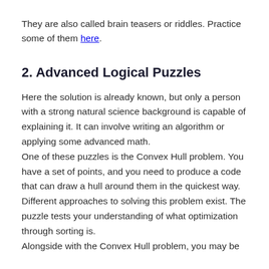They are also called brain teasers or riddles. Practice some of them here.
2. Advanced Logical Puzzles
Here the solution is already known, but only a person with a strong natural science background is capable of explaining it. It can involve writing an algorithm or applying some advanced math.
One of these puzzles is the Convex Hull problem. You have a set of points, and you need to produce a code that can draw a hull around them in the quickest way. Different approaches to solving this problem exist. The puzzle tests your understanding of what optimization through sorting is.
Alongside with the Convex Hull problem, you may be